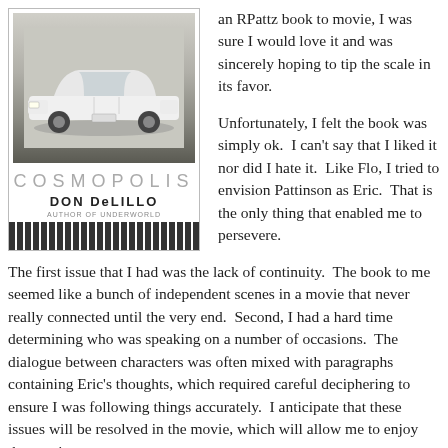[Figure (illustration): Book cover of Cosmopolis by Don DeLillo showing a white limousine/car on the cover with the title COSMOPOLIS in large gray spaced letters and author name DON DeLILLO in bold, with striped pattern at bottom and 'author of UNDERWORLD' subtitle]
an RPattz book to movie, I was sure I would love it and was sincerely hoping to tip the scale in its favor.
Unfortunately, I felt the book was simply ok.  I can't say that I liked it nor did I hate it.  Like Flo, I tried to envision Pattinson as Eric.  That is the only thing that enabled me to persevere.
The first issue that I had was the lack of continuity.  The book to me seemed like a bunch of independent scenes in a movie that never really connected until the very end.  Second, I had a hard time determining who was speaking on a number of occasions.  The dialogue between characters was often mixed with paragraphs containing Eric's thoughts, which required careful deciphering to ensure I was following things accurately.  I anticipate that these issues will be resolved in the movie, which will allow me to enjoy the movie